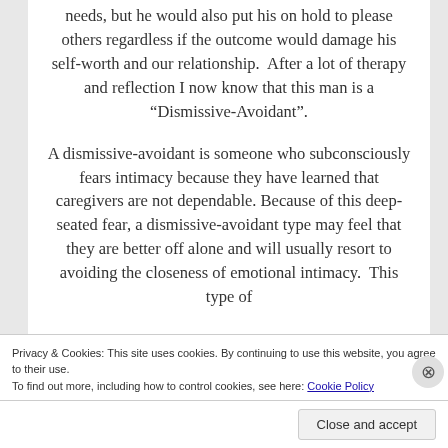needs, but he would also put his on hold to please others regardless if the outcome would damage his self-worth and our relationship.  After a lot of therapy and reflection I now know that this man is a “Dismissive-Avoidant”.
A dismissive-avoidant is someone who subconsciously fears intimacy because they have learned that caregivers are not dependable. Because of this deep-seated fear, a dismissive-avoidant type may feel that they are better off alone and will usually resort to avoiding the closeness of emotional intimacy.  This type of
Privacy & Cookies: This site uses cookies. By continuing to use this website, you agree to their use.
To find out more, including how to control cookies, see here: Cookie Policy
Close and accept